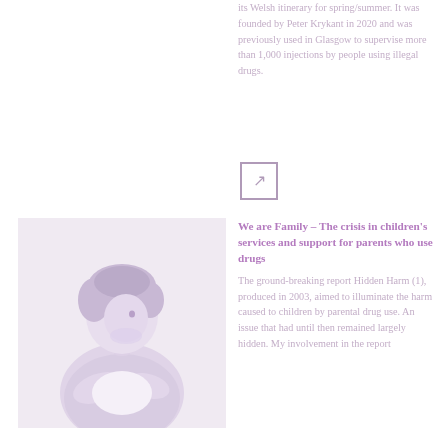its Welsh itinerary for spring/summer. It was founded by Peter Krykant in 2020 and was previously used in Glasgow to supervise more than 1,000 injections by people using illegal drugs.
[Figure (other): Arrow icon in a square box pointing upper-right, used as a link/navigation element]
[Figure (photo): A young child/person with curly hair, photographed from the side, hugging something, light muted tones]
We are Family – The crisis in children's services and support for parents who use drugs
The ground-breaking report Hidden Harm (1), produced in 2003, aimed to illuminate the harm caused to children by parental drug use. An issue that had until then remained largely hidden. My involvement in the report